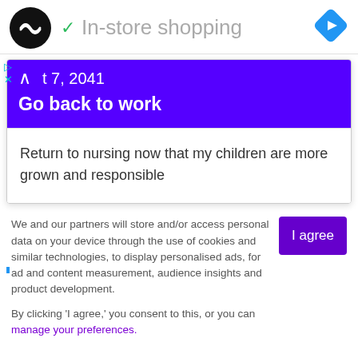In-store shopping
t 7, 2041 — Go back to work
Return to nursing now that my children are more grown and responsible
We and our partners will store and/or access personal data on your device through the use of cookies and similar technologies, to display personalised ads, for ad and content measurement, audience insights and product development.

By clicking 'I agree,' you consent to this, or you can manage your preferences.